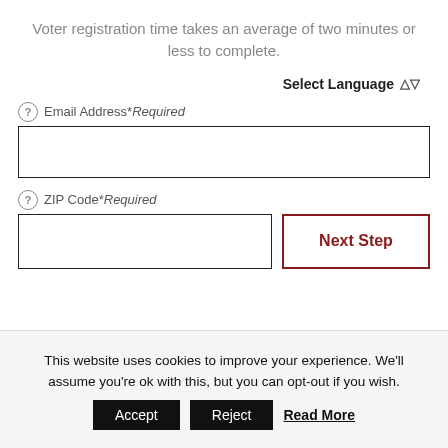Voter registration time takes an average of two minutes or less to complete.
Select Language
Email Address*Required
ZIP Code*Required
Next Step
This website uses cookies to improve your experience. We'll assume you're ok with this, but you can opt-out if you wish.
Accept
Reject
Read More